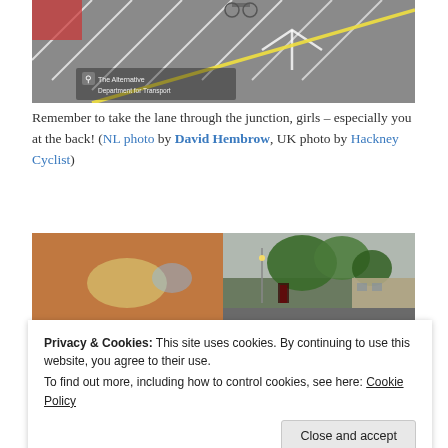[Figure (photo): Aerial/overhead view of a road junction with lane markings, bikes, and a watermark reading 'The Alternative Department for Transport']
Remember to take the lane through the junction, girls – especially you at the back! (NL photo by David Hembrow, UK photo by Hackney Cyclist)
[Figure (photo): Blurry photo of traffic, a bus interior on the left and street scene with trees and buildings on the right]
Privacy & Cookies: This site uses cookies. By continuing to use this website, you agree to their use.
To find out more, including how to control cookies, see here: Cookie Policy
Close and accept
[Figure (photo): Partial view of a street scene at the bottom of the page]